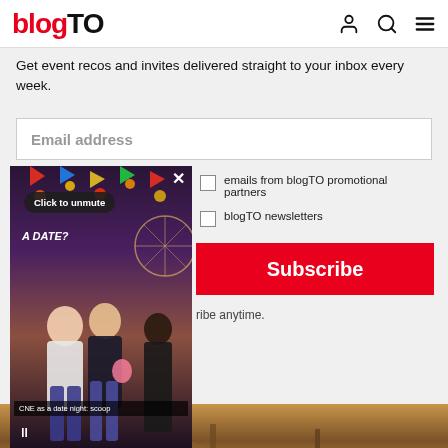blogTO
Get event recos and invites delivered straight to your inbox every week.
Email address
emails from blogTO promotional partners
blogTO newsletters
Subscribe
ribe anytime.
[Figure (screenshot): Video overlay showing carnival/CNE scene with people, with 'Click to unmute' button, close X button, 'A DATE?' text subtitle, pause button, and caption 'CNE as a date night: scoop']
Latest in music
[Figure (photo): Bottom strip showing a warm-toned photo, likely musical instruments or concert scene]